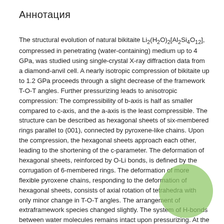Аннотация
The structural evolution of natural bikitaite Li2(H2O)2[Al2Si4O12], compressed in penetrating (water-containing) medium up to 4 GPa, was studied using single-crystal X-ray diffraction data from a diamond-anvil cell. A nearly isotropic compression of bikitaite up to 1.2 GPa proceeds through a slight decrease of the framework T-O-T angles. Further pressurizing leads to anisotropic compression: The compressibility of b-axis is half as smaller compared to c-axis, and the a-axis is the least compressible. The structure can be described as hexagonal sheets of six-membered rings parallel to (001), connected by pyroxene-like chains. Upon the compression, the hexagonal sheets approach each other, leading to the shortening of the c-parameter. The deformation of hexagonal sheets, reinforced by O-Li bonds, is defined by the corrugation of 6-membered rings. The deformation of more flexible pyroxene chains, responding to the deformation of hexagonal sheets, consists of axial rotation of tetrahedra with only minor change in T-O-T angles. The arrangement of extraframework species changed slightly. The system of H-bonds between water molecules remains intact upon pressurizing. At the same time, the formation of new H-bonds with framework O-atoms becomes possible above 2 GPa due to the shortening of the distances.